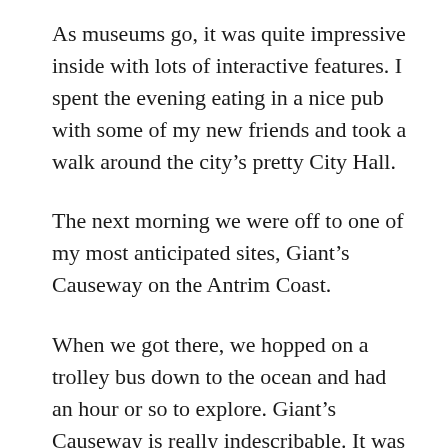As museums go, it was quite impressive inside with lots of interactive features. I spent the evening eating in a nice pub with some of my new friends and took a walk around the city’s pretty City Hall.
The next morning we were off to one of my most anticipated sites, Giant’s Causeway on the Antrim Coast.
When we got there, we hopped on a trolley bus down to the ocean and had an hour or so to explore. Giant’s Causeway is really indescribable. It was formed by volcanic activity thousands of years ago and is an extremely unique phenomenon.